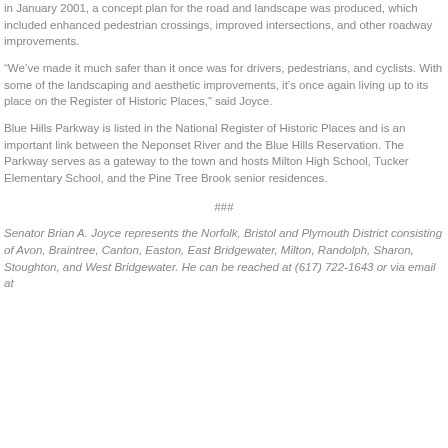in January 2001, a concept plan for the road and landscape was produced, which included enhanced pedestrian crossings, improved intersections, and other roadway improvements.
“We’ve made it much safer than it once was for drivers, pedestrians, and cyclists. With some of the landscaping and aesthetic improvements, it’s once again living up to its place on the Register of Historic Places,” said Joyce.
Blue Hills Parkway is listed in the National Register of Historic Places and is an important link between the Neponset River and the Blue Hills Reservation. The Parkway serves as a gateway to the town and hosts Milton High School, Tucker Elementary School, and the Pine Tree Brook senior residences.
###
Senator Brian A. Joyce represents the Norfolk, Bristol and Plymouth District consisting of Avon, Braintree, Canton, Easton, East Bridgewater, Milton, Randolph, Sharon, Stoughton, and West Bridgewater. He can be reached at (617) 722-1643 or via email at